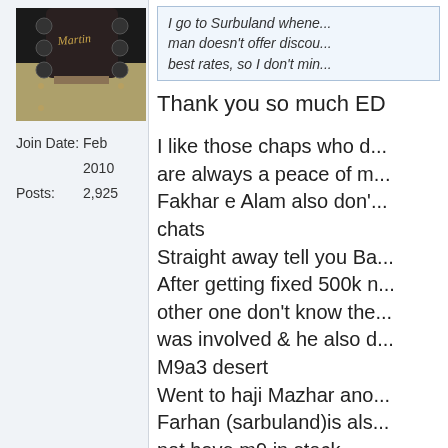[Figure (photo): Profile photo showing a dark-colored guitar headstock (appears to be a Martin brand guitar) against a light beige/cream background]
Join Date:  Feb 2010
Posts:      2,925
I go to Surbuland whene... man doesn't offer discou... best rates, so I don't min...
Thank you so much ED

I like those chaps who d... are always a peace of m... Fakhar e Alam also don'... chats
Straight away tell you Ba...
After getting fixed 500k n... other one don't know the... was involved & he also d... M9a3 desert
Went to haji Mazhar ano...
Farhan (sarbuland)is als... not have m9 in stock
Yeah Bhai ammo prices... would go more up with i...